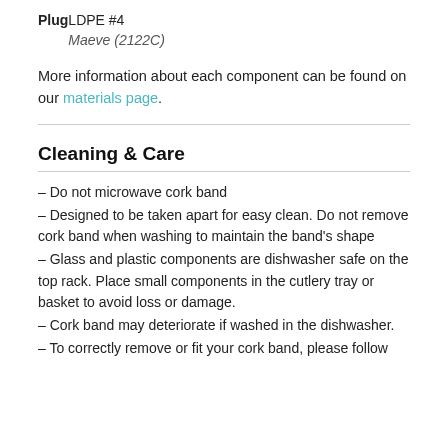| Plug | LDPE #4 |  |
|  | Maeve (2122C) |  |
More information about each component can be found on our materials page.
Cleaning & Care
– Do not microwave cork band
– Designed to be taken apart for easy clean. Do not remove cork band when washing to maintain the band's shape
– Glass and plastic components are dishwasher safe on the top rack. Place small components in the cutlery tray or basket to avoid loss or damage.
– Cork band may deteriorate if washed in the dishwasher.
– To correctly remove or fit your cork band, please follow